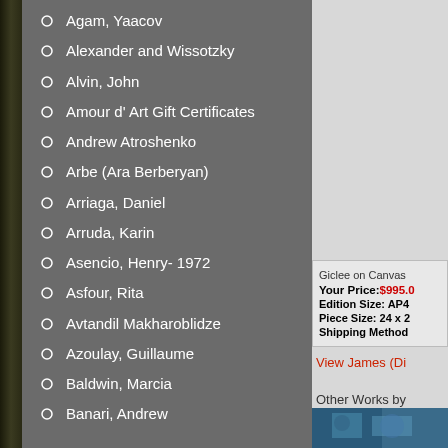Agam, Yaacov
Alexander and Wissotzky
Alvin, John
Amour d' Art Gift Certificates
Andrew Atroshenko
Arbe (Ara Berberyan)
Arriaga, Daniel
Arruda, Karin
Asencio, Henry- 1972
Asfour, Rita
Avtandil Makharoblidze
Azoulay, Guillaume
Baldwin, Marcia
Banari, Andrew
Giclee on Canvas Your Price:$995.0 Edition Size: AP4 Piece Size: 24 x 2 Shipping Method
View James (Di
Other Works by